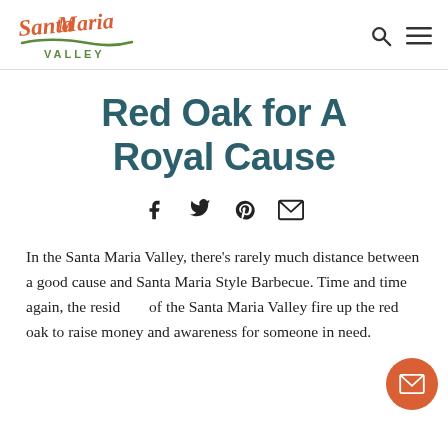[Figure (logo): Santa Maria Valley logo in red cursive script with green underline and VALLEY text]
Red Oak for A Royal Cause
[Figure (infographic): Social sharing icons: Facebook, Twitter, Pinterest, Email]
In the Santa Maria Valley, there’s rarely much distance between a good cause and Santa Maria Style Barbecue. Time and time again, the residents of the Santa Maria Valley fire up the red oak to raise money and awareness for someone in need.